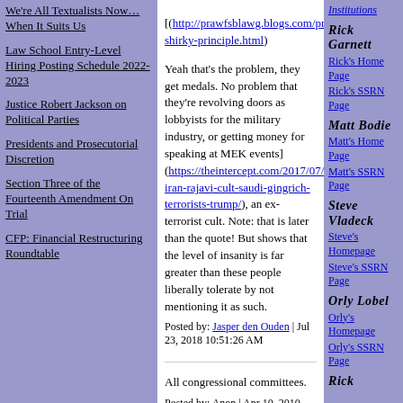We're All Textualists Now… When It Suits Us
Law School Entry-Level Hiring Posting Schedule 2022-2023
Justice Robert Jackson on Political Parties
Presidents and Prosecutorial Discretion
Section Three of the Fourteenth Amendment On Trial
CFP: Financial Restructuring Roundtable
[(http://prawfsblawg.blogs.com/prawfsblawg/2010/0... shirky-principle.html)]

Yeah that's the problem, they get medals. No problem that they're revolving doors as lobbyists for the military industry, or getting money for speaking at MEK events] (https://theintercept.com/2017/07/07/mek-iran-rajavi-cult-saudi-gingrich-terrorists-trump/), an ex-terrorist cult. Note: that is later than the quote! But shows that the level of insanity is far greater than these people liberally tolerate by not mentioning it as such.
Posted by: Jasper den Ouden | Jul 23, 2018 10:51:26 AM
All congressional committees.
Posted by: Anon | Apr 10, 2010 10:09:23 PM
Casebook publishers.
Posted by: John Mayer | Apr 9, 2010 1:28:26 PM
Ivan Illich said the same thing - perhaps not
Institutions
Rick Garnett
Rick's Home Page
Rick's SSRN Page
Matt Bodie
Matt's Home Page
Matt's SSRN Page
Steve Vladeck
Steve's Homepage
Steve's SSRN Page
Orly Lobel
Orly's Homepage
Orly's SSRN Page
Rick